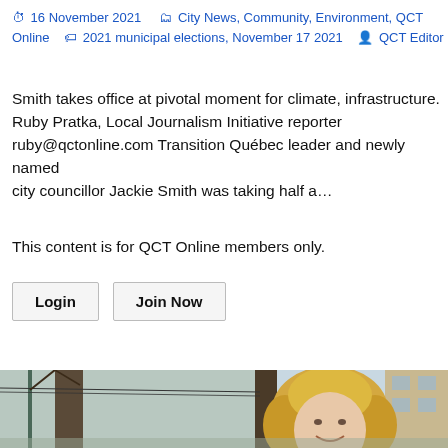16 November 2021  City News, Community, Environment, QCT Online  2021 municipal elections, November 17 2021  QCT Editor
Smith takes office at pivotal moment for climate, infrastructure. Ruby Pratka, Local Journalism Initiative reporter ruby@qctonline.com Transition Québec leader and newly named city councillor Jackie Smith was taking half a…
This content is for QCT Online members only.
Login
Join Now
[Figure (photo): Photo of Jackie Smith, a woman with curly blonde hair, smiling outdoors. Trees and a brick building are visible in the background.]